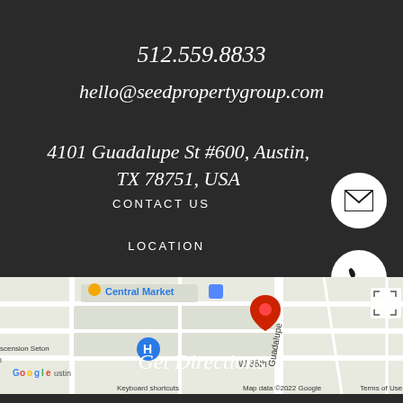512.559.8833
hello@seedpropertygroup.com
4101 Guadalupe St #600, Austin, TX 78751, USA
CONTACT US
[Figure (illustration): White circle button with envelope/email icon]
LOCATION
[Figure (illustration): White circle button with phone handset icon]
[Figure (map): Google Maps screenshot showing Central Market area at 4101 Guadalupe St, Austin TX. Shows street map with red pin marker on Guadalupe, Central Market label, Ascension Seton hospital marker, Elisabet Ney Museum label, W 38th St label. Map data 2022 Google. Keyboard shortcuts. Terms of Use.]
Get Directions